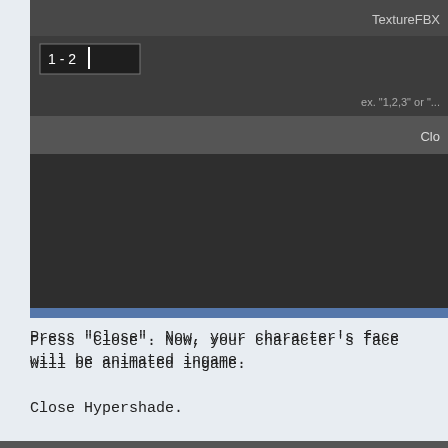[Figure (screenshot): A dark UI dialog panel showing a TextureFBX field, an input box with '1 - 2', a hint text 'ex. "1,2,3" or "..."', a Close button row, and a dark bottom area. The panel is partially cropped on the right side.]
Press "Close". Now, your character's face will be animated ingame.
Close Hypershade.
Now, go to the NITRO-System tab in the top right, then click "Export with Settings".
Your settings should look something like this:
[Figure (screenshot): Partial view of a dark UI settings panel at the bottom of the page, cropped.]